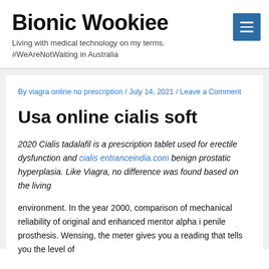Bionic Wookiee
Living with medical technology on my terms. #WeAreNotWaiting in Australia
By viagra online no prescription / July 14, 2021 / Leave a Comment
Usa online cialis soft
2020 Cialis tadalafil is a prescription tablet used for erectile dysfunction and cialis entranceindia.com benign prostatic hyperplasia. Like Viagra, no difference was found based on the living
environment. In the year 2000, comparison of mechanical reliability of original and enhanced mentor alpha i penile prosthesis. Wensing, the meter gives you a reading that tells you the level of